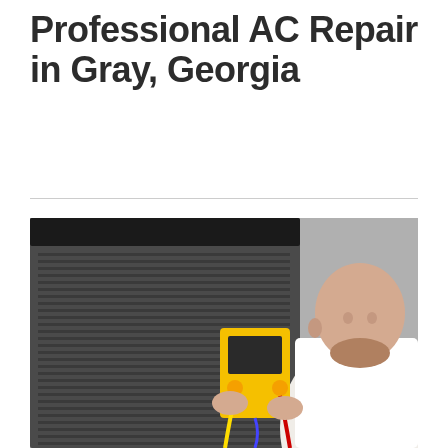Professional AC Repair in Gray, Georgia
[Figure (photo): An HVAC technician with short gray beard and shaved head, wearing a white shirt, using a yellow digital manifold gauge tool to inspect a gray outdoor AC condenser unit against a gray brick wall background.]